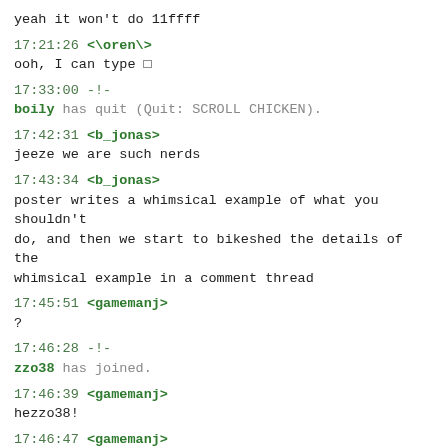yeah it won't do 11ffff
17:21:26 <\oren\>
ooh, I can type □
17:33:00 -!-
boily has quit (Quit: SCROLL CHICKEN).
17:42:31 <b_jonas>
jeeze we are such nerds
17:43:34 <b_jonas>
poster writes a whimsical example of what you shouldn't do, and then we start to bikeshed the details of the whimsical example in a comment thread
17:45:51 <gamemanj>
?
17:46:28 -!-
zzo38 has joined.
17:46:39 <gamemanj>
hezzo38!
17:46:47 <gamemanj>
(or however boily does those)
17:49:31 <shachaf>
ais523: Yes, that's true.
17:50:03 <gamemanj>
did I miss a message or something?
17:51:39 <b_jonas>